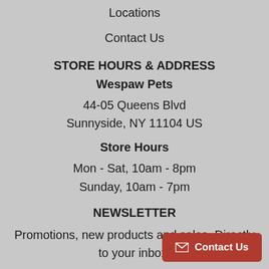Locations
Contact Us
STORE HOURS & ADDRESS
Wespaw Pets
44-05 Queens Blvd
Sunnyside, NY 11104 US
Store Hours
Mon - Sat, 10am - 8pm
Sunday, 10am - 7pm
NEWSLETTER
Promotions, new products and sales. Directly to your inbox.
Contact Us